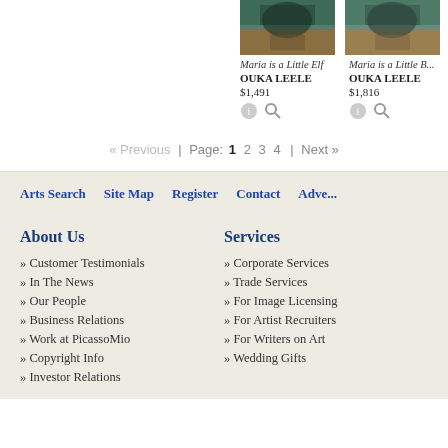[Figure (photo): Painting thumbnail - Maria is a Little Elf by OUKA LEELE]
Maria is a Little Elf
OUKA LEELE
$1,491
[Figure (photo): Painting thumbnail - Maria is a Little B... by OUKA LEELE]
Maria is a Little B...
OUKA LEELE
$1,816
« Previous | Page: 1 2 3 4 | Next »
Arts Search   Site Map   Register   Contact   Adve...
About Us
» Customer Testimonials
» In The News
» Our People
» Business Relations
» Work at PicassoMio
» Copyright Info
» Investor Relations
Services
» Corporate Services
» Trade Services
» For Image Licensing
» For Artist Recruiters
» For Writers on Art
» Wedding Gifts